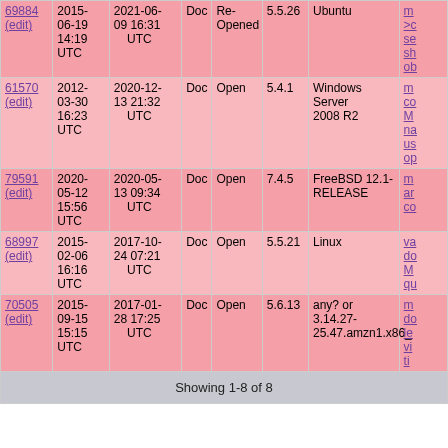| ID | Created | Modified | Type | Status | Version | OS | Description |
| --- | --- | --- | --- | --- | --- | --- | --- |
| 69884 (edit) | 2015-06-19 14:19 UTC | 2021-06-09 16:31 UTC | Doc | Re-Opened | 5.5.26 | Ubuntu | m >c se sh ob |
| 61570 (edit) | 2012-03-30 16:23 UTC | 2020-12-13 21:32 UTC | Doc | Open | 5.4.1 | Windows Server 2008 R2 | m co M na us op |
| 79591 (edit) | 2020-05-12 15:56 UTC | 2020-05-13 09:34 UTC | Doc | Open | 7.4.5 | FreeBSD 12.1-RELEASE | m ar co |
| 68997 (edit) | 2015-02-06 16:16 UTC | 2017-10-24 07:21 UTC | Doc | Open | 5.5.21 | Linux | va do M qu |
| 70505 (edit) | 2015-09-15 15:15 UTC | 2017-01-28 17:25 UTC | Doc | Open | 5.6.13 | any? or 3.14.27-25.47.amzn1.x86_ | m do le vi ti |